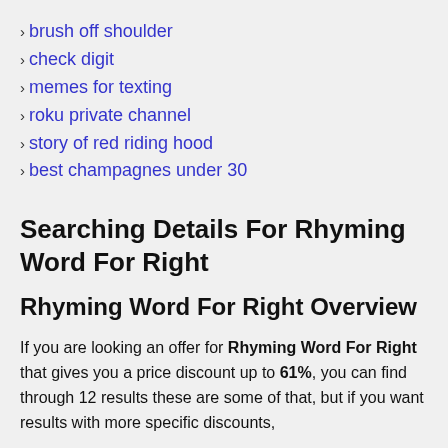› brush off shoulder
› check digit
› memes for texting
› roku private channel
› story of red riding hood
› best champagnes under 30
Searching Details For Rhyming Word For Right
Rhyming Word For Right Overview
If you are looking an offer for Rhyming Word For Right that gives you a price discount up to 61%, you can find through 12 results these are some of that, but if you want results with more specific discounts,